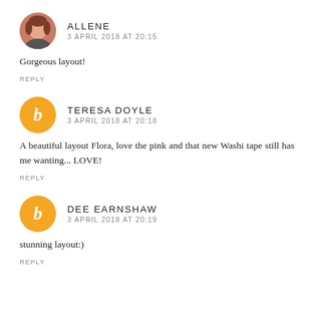ALLENE
3 APRIL 2018 AT 20:15
Gorgeous layout!
REPLY
TERESA DOYLE
3 APRIL 2018 AT 20:18
A beautiful layout Flora, love the pink and that new Washi tape still has me wanting... LOVE!
REPLY
DEE EARNSHAW
3 APRIL 2018 AT 20:19
stunning layout:)
REPLY